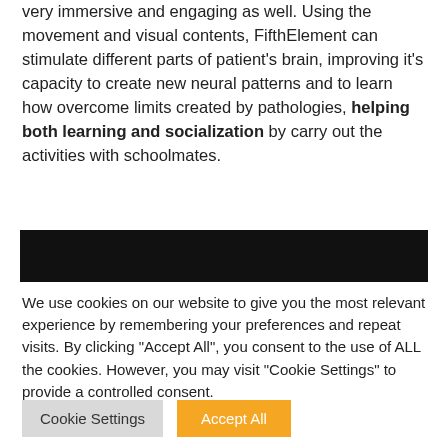very immersive and engaging as well. Using the movement and visual contents, FifthElement can stimulate different parts of patient's brain, improving it's capacity to create new neural patterns and to learn how overcome limits created by pathologies, helping both learning and socialization by carry out the activities with schoolmates.
[Figure (other): Black horizontal bar / banner element]
We use cookies on our website to give you the most relevant experience by remembering your preferences and repeat visits. By clicking "Accept All", you consent to the use of ALL the cookies. However, you may visit "Cookie Settings" to provide a controlled consent.
Cookie Settings | Accept All